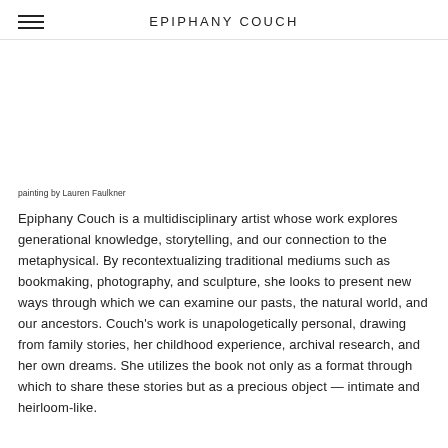EPIPHANY COUCH
painting by Lauren Faulkner
Epiphany Couch is a multidisciplinary artist whose work explores generational knowledge, storytelling, and our connection to the metaphysical. By recontextualizing traditional mediums such as bookmaking, photography, and sculpture, she looks to present new ways through which we can examine our pasts, the natural world, and our ancestors. Couch's work is unapologetically personal, drawing from family stories, her childhood experience, archival research, and her own dreams. She utilizes the book not only as a format through which to share these stories but as a precious object — intimate and heirloom-like.